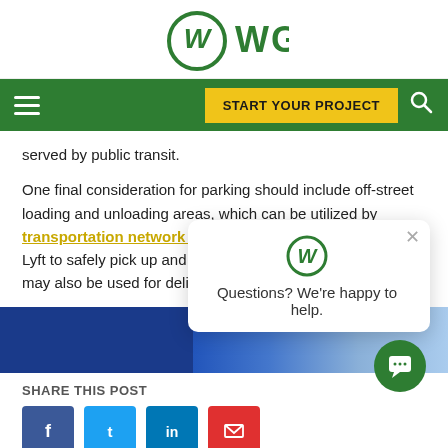[Figure (logo): WGI logo — stylized W lettermark in green circle with 'WGI' text]
[Figure (screenshot): Green navigation bar with hamburger menu, 'START YOUR PROJECT' yellow button, and search icon]
served by public transit.
One final consideration for parking should include off-street loading and unloading areas, which can be utilized by transportation network companies (TNCs) like Uber or Lyft to safely pick up and drop off passengers. These areas may also be used for deliveries, moving [obscured by chat popup]
[Figure (photo): Partial photo partially obscured by chat popup — blue and light blue tones, appears to be a building exterior]
SHARE THIS POST
[Figure (infographic): Social share buttons: Facebook (blue), Twitter (blue), LinkedIn (blue), Email (red)]
[Figure (screenshot): Chat popup overlay with WGI logo and text 'Questions? We're happy to help.' with close X button, and green chat FAB button]